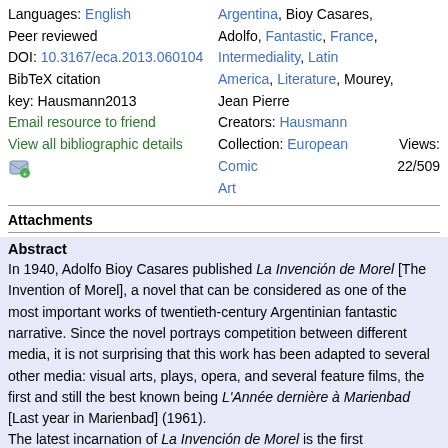Languages: English
Peer reviewed
DOI: 10.3167/eca.2013.060104
BibTeX citation key: Hausmann2013
Email resource to friend
View all bibliographic details
Argentina, Bioy Casares, Adolfo, Fantastic, France, Intermediality, Latin America, Literature, Mourey, Jean Pierre
Creators: Hausmann
Collection: European Comic Art
Views: 22/509
Attachments
Abstract
In 1940, Adolfo Bioy Casares published La Invención de Morel [The Invention of Morel], a novel that can be considered as one of the most important works of twentieth-century Argentinian fantastic narrative. Since the novel portrays competition between different media, it is not surprising that this work has been adapted to several other media: visual arts, plays, opera, and several feature films, the first and still the best known being L'Année dernière à Marienbad [Last year in Marienbad] (1961).
The latest incarnation of La Invención de Morel is the first